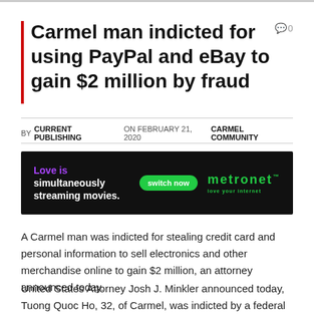Carmel man indicted for using PayPal and eBay to gain $2 million by fraud
BY CURRENT PUBLISHING ON FEBRUARY 21, 2020   CARMEL COMMUNITY
[Figure (advertisement): Metronet advertisement: Love is simultaneously streaming movies. Switch now button. Metronet logo.]
A Carmel man was indicted for stealing credit card and personal information to sell electronics and other merchandise online to gain $2 million, an attorney announced today.
United States Attorney Josh J. Minkler announced today, Tuong Quoc Ho, 32, of Carmel, was indicted by a federal grand jury for a